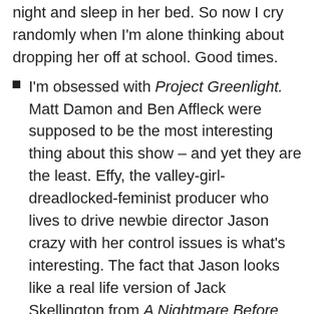night and sleep in her bed. So now I cry randomly when I'm alone thinking about dropping her off at school. Good times.
I'm obsessed with Project Greenlight. Matt Damon and Ben Affleck were supposed to be the most interesting thing about this show – and yet they are the least. Effy, the valley-girl-dreadlocked-feminist producer who lives to drive newbie director Jason crazy with her control issues is what's interesting. The fact that Jason looks like a real life version of Jack Skellington from A Nightmare Before Christmas is just a bonus. Watch it watch it!!
Babes with Books is still going strong! In fact, it's my turn to host book club next week and I'm excited to see the ladies. We picked Me Before You. Have you read it? Did you love it? I read it in one day. Couldn't put it